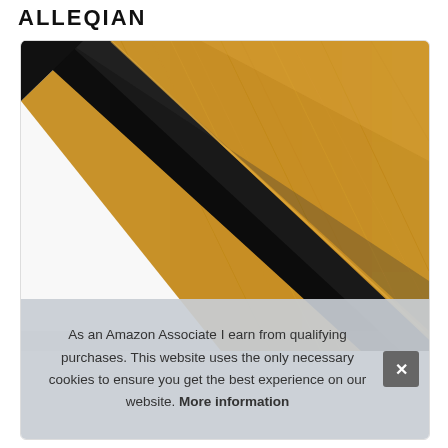ALLEQIAN
[Figure (photo): Close-up product photo of a door bottom seal strip – a flat golden/wood-toned panel with a black rubber seal strip along its bottom edge, photographed diagonally from above.]
As an Amazon Associate I earn from qualifying purchases. This website uses the only necessary cookies to ensure you get the best experience on our website. More information